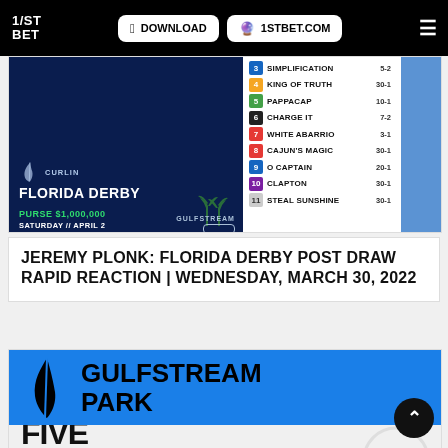1/ST BET | DOWNLOAD | 1STBET.COM
[Figure (screenshot): Curlin Florida Derby post draw graphic showing horse numbers 3-11 with names and odds: 3 SIMPLIFICATION 5-2, 4 KING OF TRUTH 30-1, 5 PAPPACAP 10-1, 6 CHARGE IT 7-2, 7 WHITE ABARRIO 3-1, 8 CAJUN'S MAGIC 30-1, 9 O CAPTAIN 20-1, 10 CLAPTON 30-1, 11 STEAL SUNSHINE 30-1. Purse $1,000,000 Saturday // April 2. Gulfstream Park.]
JEREMY PLONK: FLORIDA DERBY POST DRAW RAPID REACTION | WEDNESDAY, MARCH 30, 2022
[Figure (logo): Gulfstream Park logo and banner in blue with feather/bird logo and GULFSTREAM PARK text in large black letters. Partial text FIVE visible at bottom.]